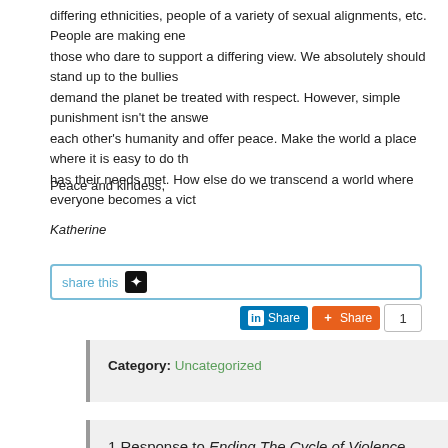differing ethnicities, people of a variety of sexual alignments, etc. People are making ene those who dare to support a differing view. We absolutely should stand up to the bullies demand the planet be treated with respect. However, simple punishment isn't the answe each other's humanity and offer peace. Make the world a place where it is easy to do th has their needs met. How else do we transcend a world where everyone becomes a vict
Peace and kindess,
Katherine
[Figure (screenshot): Share this button with star icon, LinkedIn Share button, AddThis Share button (orange), and count box showing 1]
Category: Uncategorized
1 Response to Ending The Cycle of Violence